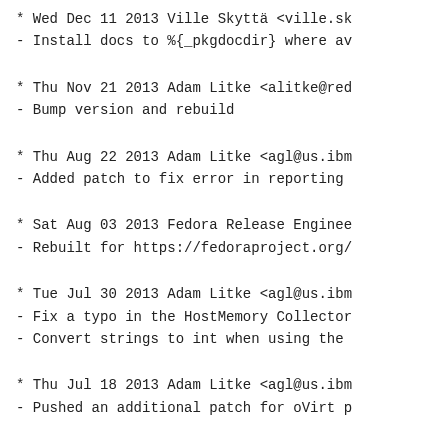* Wed Dec 11 2013 Ville Skyttä <ville.sk
- Install docs to %{_pkgdocdir} where av
* Thu Nov 21 2013 Adam Litke <alitke@red
- Bump version and rebuild
* Thu Aug 22 2013 Adam Litke <agl@us.ibm
- Added patch to fix error in reporting
* Sat Aug 03 2013 Fedora Release Enginee
- Rebuilt for https://fedoraproject.org/
* Tue Jul 30 2013 Adam Litke <agl@us.ibm
- Fix a typo in the HostMemory Collector
- Convert strings to int when using the
* Thu Jul 18 2013 Adam Litke <agl@us.ibm
- Pushed an additional patch for oVirt p